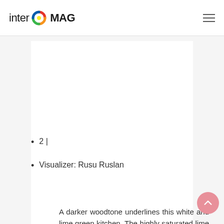inter MAG
[Figure (logo): InterMAG logo with colorful circular icon and text 'inter MAG']
2 |
Visualizer: Rusu Ruslan
A darker woodtone underlines this white and lime green kitchen. The highly saturated lime shade is used on only a small soffit and behind